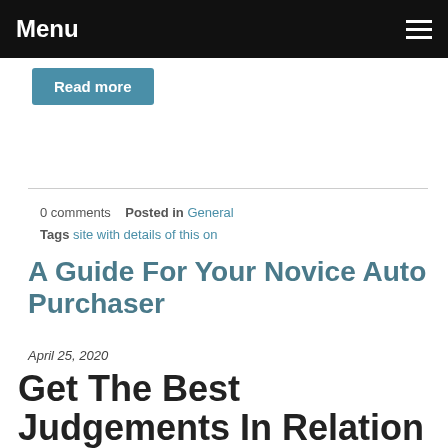Menu
Read more
0 comments   Posted in General
Tags site with details of this on
A Guide For Your Novice Auto Purchaser
April 25, 2020
Get The Best Judgements In Relation To Vehicle Buying